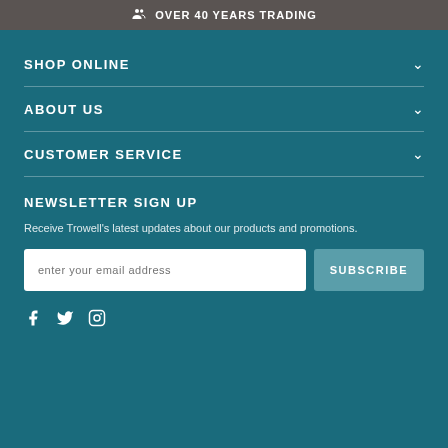OVER 40 YEARS TRADING
SHOP ONLINE
ABOUT US
CUSTOMER SERVICE
NEWSLETTER SIGN UP
Receive Trowell's latest updates about our products and promotions.
enter your email address
SUBSCRIBE